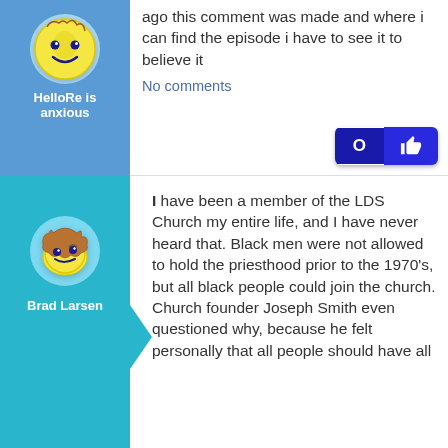[Figure (illustration): Avatar of user HelloRe with smiley face icon on blue background]
HelloRe is anxious
ago this comment was made and where i can find the episode i have to see it to believe it
No comments
[Figure (illustration): Like button showing 0 with thumbs up icon on dark blue background]
[Figure (illustration): Avatar of user Brad Larsen with winking smiley face icon on teal background]
Brad Larsen
I have been a member of the LDS Church my entire life, and I have never heard that. Black men were not allowed to hold the priesthood prior to the 1970's, but all black people could join the church. Church founder Joseph Smith even questioned why, because he felt personally that all people should have all